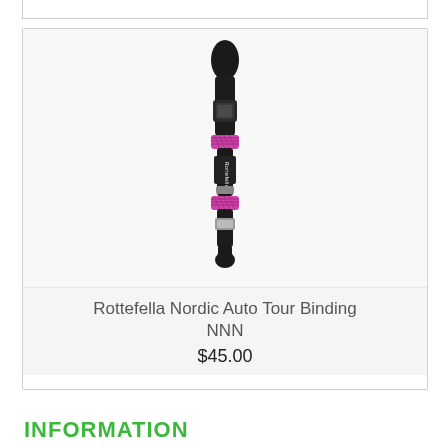[Figure (photo): Rottefella Nordic Auto Tour Binding NNN ski binding, black with pink accents, viewed from above/side angle]
Rottefella Nordic Auto Tour Binding NNN
$45.00
INFORMATION